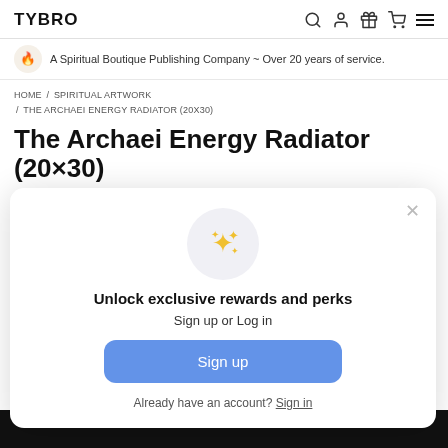TYBRO
A Spiritual Boutique Publishing Company ~ Over 20 years of service.
HOME / SPIRITUAL ARTWORK / THE ARCHAEI ENERGY RADIATOR (20X30)
The Archaei Energy Radiator (20×30)
[Figure (screenshot): Modal popup overlay with sparkle icon in gray circle, text 'Unlock exclusive rewards and perks', 'Sign up or Log in', a blue 'Sign up' button, and 'Already have an account? Sign in' link.]